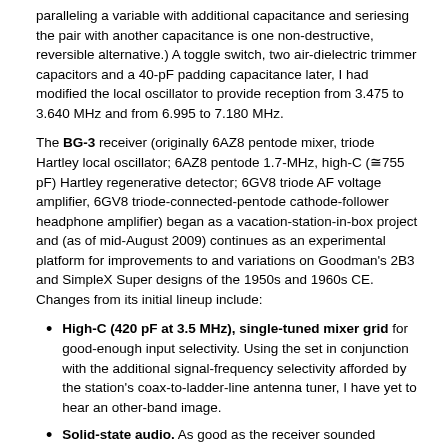paralleling a variable with additional capacitance and seriesing the pair with another capacitance is one non-destructive, reversible alternative.) A toggle switch, two air-dielectric trimmer capacitors and a 40-pF padding capacitance later, I had modified the local oscillator to provide reception from 3.475 to 3.640 MHz and from 6.995 to 7.180 MHz.
The BG-3 receiver (originally 6AZ8 pentode mixer, triode Hartley local oscillator; 6AZ8 pentode 1.7-MHz, high-C (≅755 pF) Hartley regenerative detector; 6GV8 triode AF voltage amplifier, 6GV8 triode-connected-pentode cathode-follower headphone amplifier) began as a vacation-station-in-box project and (as of mid-August 2009) continues as an experimental platform for improvements to and variations on Goodman's 2B3 and SimpleX Super designs of the 1950s and 1960s CE. Changes from its initial lineup include:
High-C (420 pF at 3.5 MHz), single-tuned mixer grid for good-enough input selectivity. Using the set in conjunction with the additional signal-frequency selectivity afforded by the station's coax-to-ladder-line antenna tuner, I have yet to hear an other-band image.
Solid-state audio. As good as the receiver sounded through the transformerless pentode-triode-connected-as-a-power-cathode-follower headphone amplifier, with heater power considered the 6GV8 dissipated over 10 W no-signal and unacceptably heated the receiver box. Replacing it with one stage of AF filtering (half of a TL082P dual operational